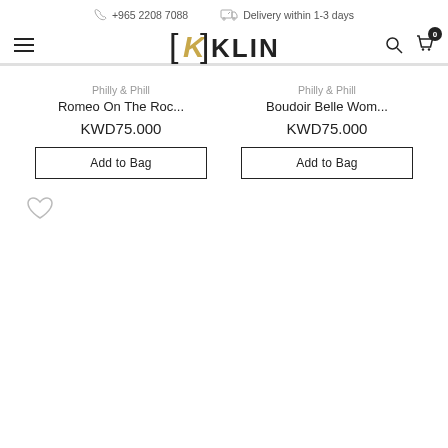+965 2208 7088    Delivery within 1-3 days
[Figure (logo): KLINQ brand logo with K monogram and hamburger menu, search and cart icons]
Philly & Phill
Romeo On The Roc...
KWD75.000
Add to Bag
Philly & Phill
Boudoir Belle Wom...
KWD75.000
Add to Bag
[Figure (illustration): Heart/wishlist icon outline]